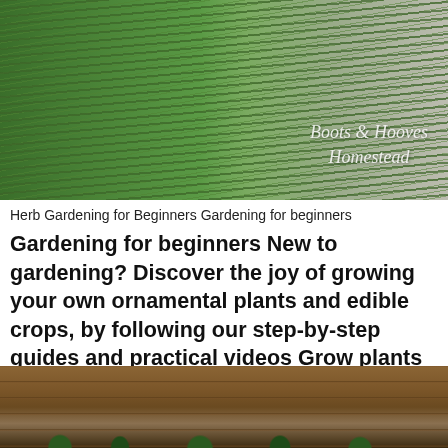[Figure (photo): Close-up photo of green herb plants (likely rosemary or similar) with a gravel/stone area visible at the right side. White watermark text reads 'Boots & Hooves Homestead' overlaid on the image.]
Herb Gardening for Beginners Gardening for beginners
Gardening for beginners New to gardening? Discover the joy of growing your own ornamental plants and edible crops, by following our step-by-step guides and practical videos Grow plants Gardening for beginners: the gardening year. Plants Gardening for beginners: Plant types explained.
[Figure (photo): Partial photo showing wooden planks (a raised planter or fence) with small green seedling plants growing in front of/against it.]